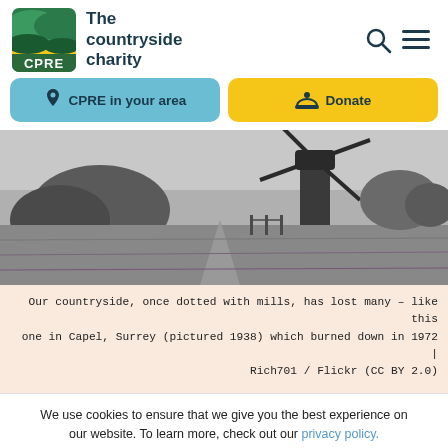[Figure (logo): CPRE - The countryside charity logo with green/yellow landscape icon]
[Figure (other): Navigation buttons: 'CPRE in your area' (blue) and 'Donate' (yellow)]
[Figure (photo): Black and white photograph of a countryside scene with a windmill at Capel, Surrey, taken in 1938]
Our countryside, once dotted with mills, has lost many – like this one in Capel, Surrey (pictured 1938) which burned down in 1972 | Rich701 / Flickr (CC BY 2.0)
We use cookies to ensure that we give you the best experience on our website. To learn more, check out our privacy policy.